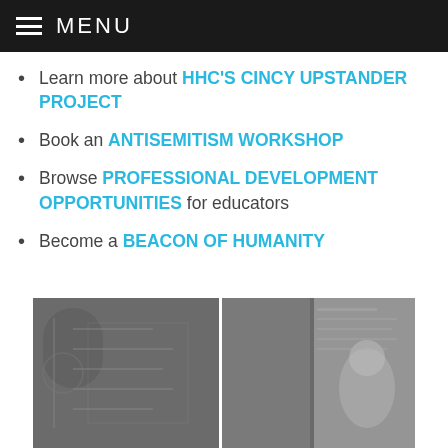MENU
Learn more about HHC'S CINCY UPSTANDER PROJECT
Book an ANTISEMITISM WORKSHOP
Browse PROFESSIONAL DEVELOPMENT OPPORTUNITIES for educators
Become a BEACON OF HUMANITY
[Figure (photo): Black and white photo strip showing museum exhibit panels with handwritten documents on the left and a person viewing an exhibit display on the right]